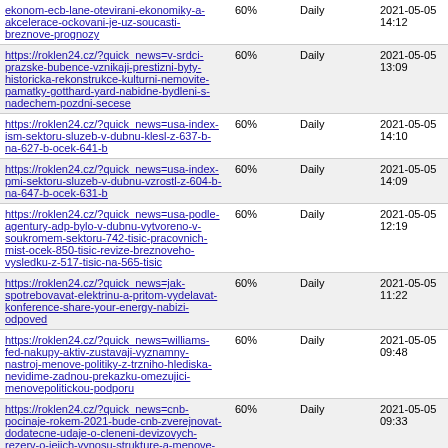| URL | % | Frequency | Date |
| --- | --- | --- | --- |
| ekonom-ecb-lane-otevirani-ekonomiky-a-akcelerace-ockovani-je-uz-soucasti-breznove-prognozy | 60% | Daily | 2021-05-05 14:12 |
| https://roklen24.cz/?quick_news=v-srdci-prazske-bubence-vznikaji-prestizni-byty-historicka-rekonstrukce-kulturni-nemovite-pamatky-gotthard-yard-nabidne-bydleni-s-nadechem-pozdni-secese | 60% | Daily | 2021-05-05 13:09 |
| https://roklen24.cz/?quick_news=usa-index-ism-sektoru-sluzeb-v-dubnu-klesl-z-637-b-na-627-b-ocek-641-b | 60% | Daily | 2021-05-05 14:10 |
| https://roklen24.cz/?quick_news=usa-index-pmi-sektoru-sluzeb-v-dubnu-vzrostl-z-604-b-na-647-b-ocek-631-b | 60% | Daily | 2021-05-05 14:09 |
| https://roklen24.cz/?quick_news=usa-podle-agentury-adp-bylo-v-dubnu-vytvoreno-v-soukromem-sektoru-742-tisic-pracovnich-mist-ocek-850-tisic-revize-breznoveho-vysledku-z-517-tisic-na-565-tisic | 60% | Daily | 2021-05-05 12:19 |
| https://roklen24.cz/?quick_news=jak-spotrebovavat-elektrinu-a-pritom-vydelavat-konference-share-your-energy-nabizi-odpoved | 60% | Daily | 2021-05-05 11:22 |
| https://roklen24.cz/?quick_news=williams-fed-nakupy-aktiv-zustavaji-vyznamny-nastroj-menove-politiky-z-trzniho-hlediska-nevidime-zadnou-prekazku-omezujici-menovepolitickou-podporu | 60% | Daily | 2021-05-05 09:48 |
| https://roklen24.cz/?quick_news=cnb-pocinaje-rokem-2021-bude-cnb-zverejnovat-dodatecne-udaje-o-cleneni-devizovych-rezerv-o-jejich-vynosu-strukture-a-menove-kompozici-tyto-informace-ktere-byly-doposud- | 60% | Daily | 2021-05-05 09:33 |